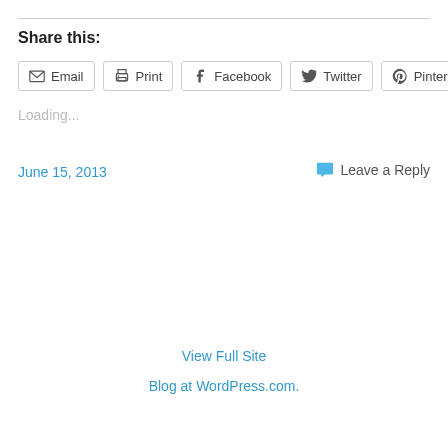Share this:
Email | Print | Facebook | Twitter | Pinterest 8
Loading...
June 15, 2013
Leave a Reply
View Full Site
Blog at WordPress.com.